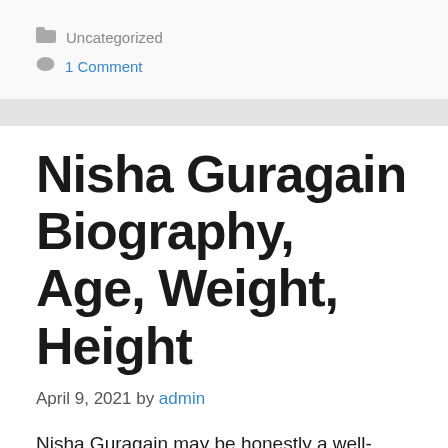Uncategorized
1 Comment
Nisha Guragain Biography, Age, Weight, Height
April 9, 2021 by admin
Nisha Guragain may be honestly a well-known Indian TikTok super mega-celebrity and a developing super mega-celebrity of